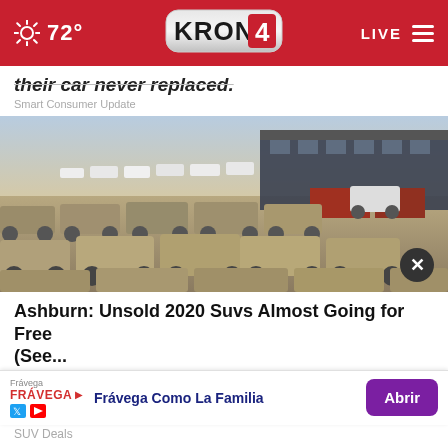72° KRON4 LIVE
their car never replaced.
Smart Consumer Update
[Figure (photo): Outdoor car lot with rows of dust-covered vehicles parked near an industrial warehouse building under a hazy sky.]
Ashburn: Unsold 2020 Suvs Almost Going for Free (See...
SUV Deals
Frávega — Frávega Como La Familia — Abrir